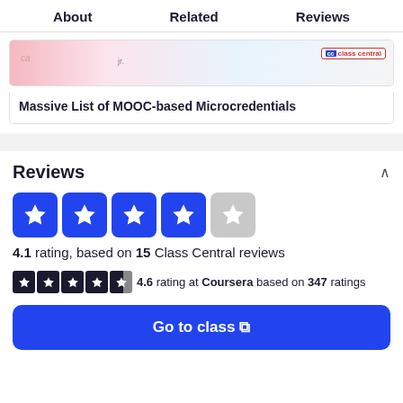About   Related   Reviews
[Figure (screenshot): Class Central website image with pink and light blue background, showing a CC class central logo in the top right]
Massive List of MOOC-based Microcredentials
Reviews
[Figure (infographic): 4 out of 5 blue star rating boxes, with the 5th star in gray]
4.1 rating, based on 15 Class Central reviews
4.6 rating at Coursera based on 347 ratings
Go to class